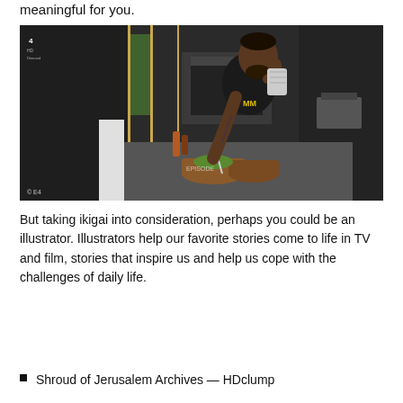meaningful for you.
[Figure (photo): A man wearing a black t-shirt with a towel over his shoulder leans over a kitchen counter, stirring food in copper pots. The scene is a modern kitchen with dark cabinetry and built-in ovens. A Channel 4 logo appears in the top-left corner and '© E4' watermark at bottom left.]
But taking ikigai into consideration, perhaps you could be an illustrator. Illustrators help our favorite stories come to life in TV and film, stories that inspire us and help us cope with the challenges of daily life.
Shroud of Jerusalem Archives — HDclump